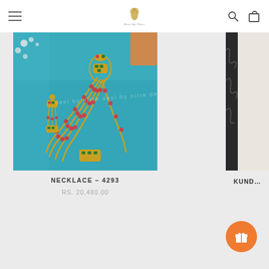Navigation header with hamburger menu, brand logo, search and cart icons
[Figure (photo): Product photo of a multi-strand ruby and emerald necklace set with dangling earrings on a teal/turquoise fabric background]
NECKLACE - 4293
RS. 20,480.00
[Figure (photo): Partial view of another jewelry product (Kund...) on a dark ornate frame background]
KUND